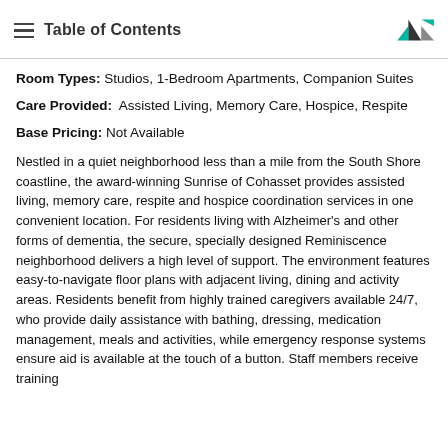Table of Contents
Room Types: Studios, 1-Bedroom Apartments, Companion Suites
Care Provided: Assisted Living, Memory Care, Hospice, Respite
Base Pricing: Not Available
Nestled in a quiet neighborhood less than a mile from the South Shore coastline, the award-winning Sunrise of Cohasset provides assisted living, memory care, respite and hospice coordination services in one convenient location. For residents living with Alzheimer's and other forms of dementia, the secure, specially designed Reminiscence neighborhood delivers a high level of support. The environment features easy-to-navigate floor plans with adjacent living, dining and activity areas. Residents benefit from highly trained caregivers available 24/7, who provide daily assistance with bathing, dressing, medication management, meals and activities, while emergency response systems ensure aid is available at the touch of a button. Staff members receive training